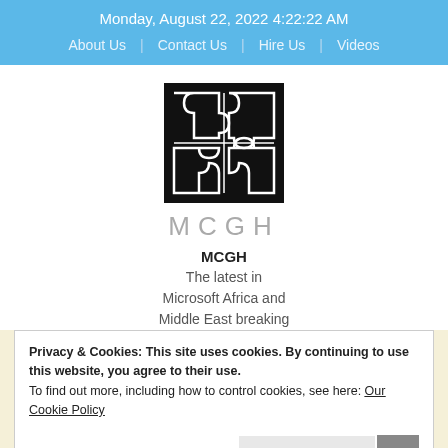Monday, August 22, 2022 4:22:22 AM
About Us | Contact Us | Hire Us | Videos
[Figure (logo): MCGH puzzle logo — four interlocking puzzle pieces in black on black background, square shape]
MCGH
The latest in Microsoft Africa and Middle East breaking
Privacy & Cookies: This site uses cookies. By continuing to use this website, you agree to their use.
To find out more, including how to control cookies, see here: Our Cookie Policy
Close and accept